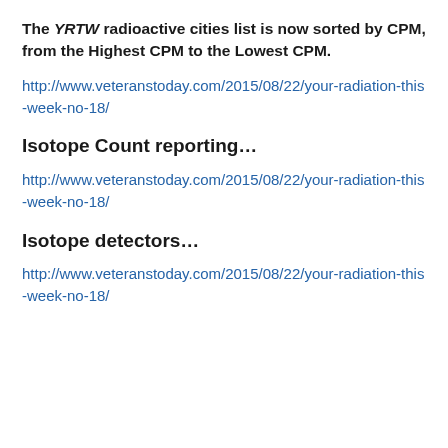The YRTW radioactive cities list is now sorted by CPM, from the Highest CPM to the Lowest CPM.
http://www.veteranstoday.com/2015/08/22/your-radiation-this-week-no-18/
Isotope Count reporting…
http://www.veteranstoday.com/2015/08/22/your-radiation-this-week-no-18/
Isotope detectors…
http://www.veteranstoday.com/2015/08/22/your-radiation-this-week-no-18/